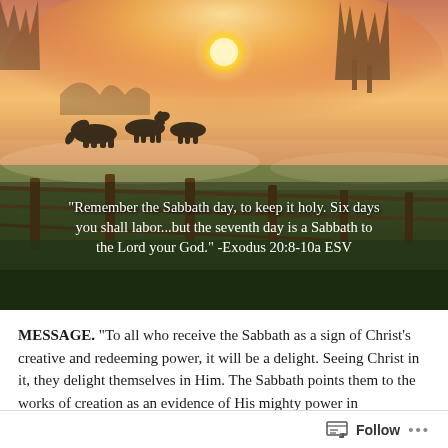[Figure (photo): Pastoral sunrise scene with horses grazing in a misty field, wooden fence in foreground, warm orange-pink sky with glowing sun. A bible verse quote is overlaid on the lower portion of the image.]
MESSAGE. “To all who receive the Sabbath as a sign of Christ’s creative and redeeming power, it will be a delight. Seeing Christ in it, they delight themselves in Him. The Sabbath points them to the works of creation as an evidence of His mighty power in redemption. While it calls to mind the lost peace of Eden, it tells
Follow ...